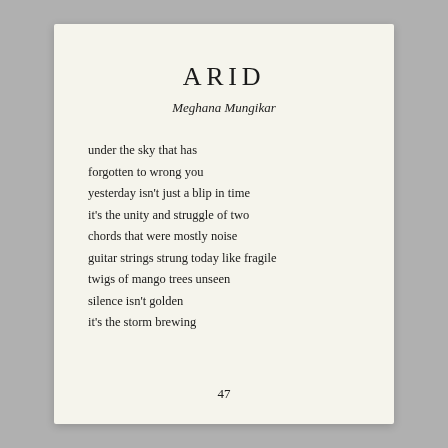ARID
Meghana Mungikar
under the sky that has
forgotten to wrong you
yesterday isn't just a blip in time
it's the unity and struggle of two
chords that were mostly noise
guitar strings strung today like fragile
twigs of mango trees unseen
silence isn't golden
it's the storm brewing
47